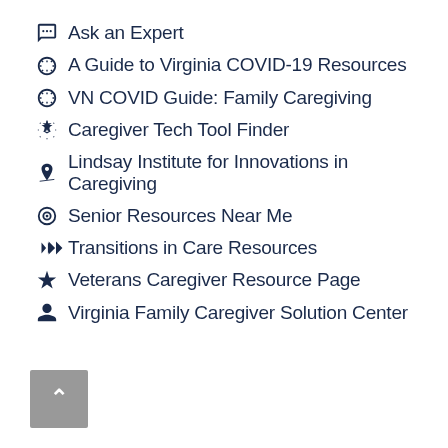Ask an Expert
A Guide to Virginia COVID-19 Resources
VN COVID Guide: Family Caregiving
Caregiver Tech Tool Finder
Lindsay Institute for Innovations in Caregiving
Senior Resources Near Me
Transitions in Care Resources
Veterans Caregiver Resource Page
Virginia Family Caregiver Solution Center